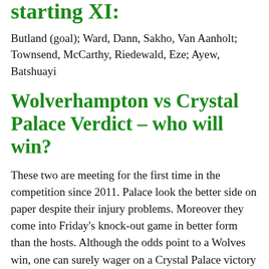starting XI:
Butland (goal); Ward, Dann, Sakho, Van Aanholt; Townsend, McCarthy, Riedewald, Eze; Ayew, Batshuayi
Wolverhampton vs Crystal Palace Verdict – who will win?
These two are meeting for the first time in the competition since 2011. Palace look the better side on paper despite their injury problems. Moreover they come into Friday's knock-out game in better form than the hosts. Although the odds point to a Wolves win, one can surely wager on a Crystal Palace victory as it seems a risk worth taking.